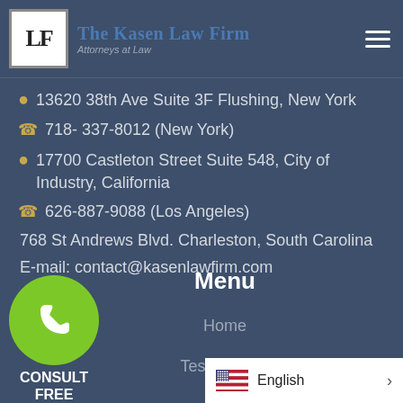[Figure (logo): The Kasen Law Firm logo with initials in a box, firm name and tagline 'Attorneys at Law']
13620 38th Ave Suite 3F Flushing, New York
718- 337-8012 (New York)
17700 Castleton Street Suite 548, City of Industry, California
626-887-9088 (Los Angeles)
768 St Andrews Blvd. Charleston, South Carolina
E-mail: contact@kasenlawfirm.com
Menu
Home
Testimonials
CONSULT FREE
English